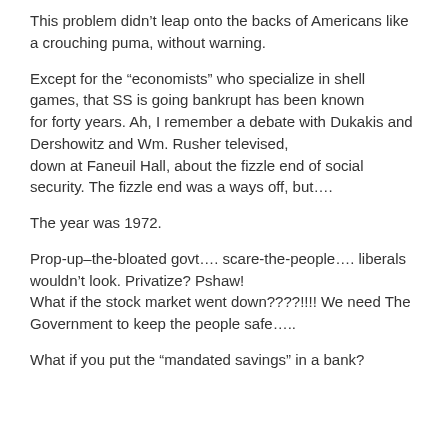This problem didn’t leap onto the backs of Americans like a crouching puma, without warning.
Except for the “economists” who specialize in shell games, that SS is going bankrupt has been known for forty years. Ah, I remember a debate with Dukakis and Dershowitz and Wm. Rusher televised, down at Faneuil Hall, about the fizzle end of social security. The fizzle end was a ways off, but….
The year was 1972.
Prop-up–the-bloated govt…. scare-the-people…. liberals wouldn’t look. Privatize? Pshaw!
What if the stock market went down????!!!! We need The Government to keep the people safe…..
What if you put the “mandated savings” in a bank?